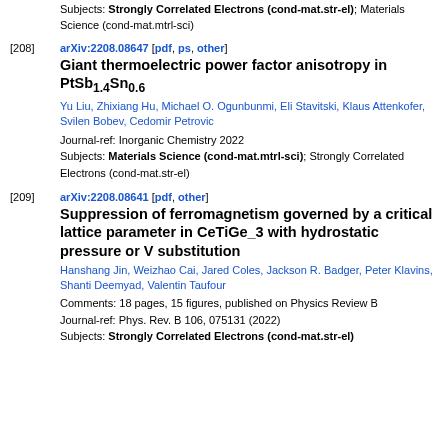Subjects: Strongly Correlated Electrons (cond-mat.str-el); Materials Science (cond-mat.mtrl-sci)
[208] arXiv:2208.08647 [pdf, ps, other] Giant thermoelectric power factor anisotropy in PtSb1.4Sn0.6. Yu Liu, Zhixiang Hu, Michael O. Ogunbunmi, Eli Stavitski, Klaus Attenkofer, Svilen Bobev, Cedomir Petrovic. Journal-ref: Inorganic Chemistry 2022. Subjects: Materials Science (cond-mat.mtrl-sci); Strongly Correlated Electrons (cond-mat.str-el)
[209] arXiv:2208.08641 [pdf, other] Suppression of ferromagnetism governed by a critical lattice parameter in CeTiGe_3 with hydrostatic pressure or V substitution. Hanshang Jin, Weizhao Cai, Jared Coles, Jackson R. Badger, Peter Klavins, Shanti Deemyad, Valentin Taufour. Comments: 18 pages, 15 figures, published on Physics Review B. Journal-ref: Phys. Rev. B 106, 075131 (2022). Subjects: Strongly Correlated Electrons (cond-mat.str-el)